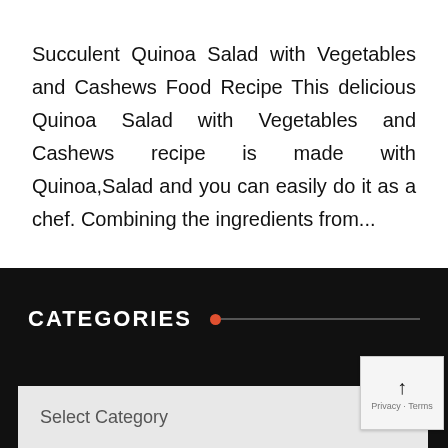Succulent Quinoa Salad with Vegetables and Cashews Food Recipe This delicious Quinoa Salad with Vegetables and Cashews recipe is made with Quinoa,Salad and you can easily do it as a chef. Combining the ingredients from...
CATEGORIES
Select Category